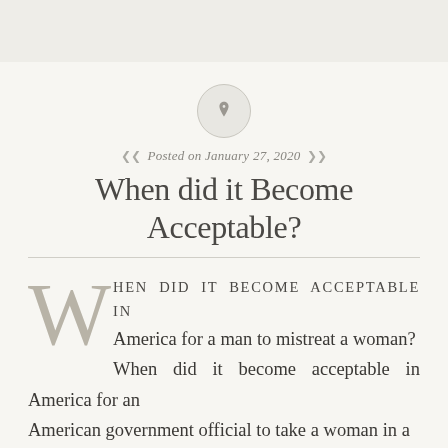[Figure (illustration): Pin/thumbtack icon inside a light circular border]
Posted on January 27, 2020
When did it Become Acceptable?
WHEN DID IT BECOME ACCEPTABLE IN America for a man to mistreat a woman? When did it become acceptable in America for an American government official to take a woman in a back room and scream profanities at her? How does it come to pass that an American Secretary of State